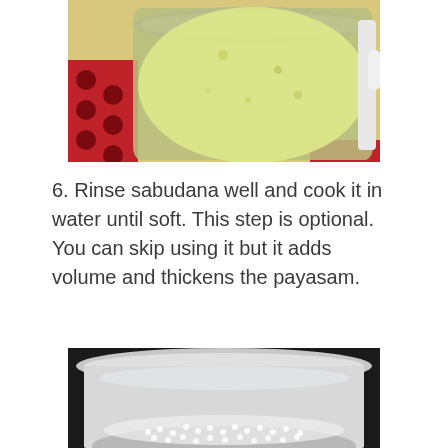[Figure (photo): A metal pot containing a pale yellow-green liquid (milk-based mixture), sitting on a red and black polka dot surface, viewed from above.]
6. Rinse sabudana well and cook it in water until soft. This step is optional. You can skip using it but it adds volume and thickens the payasam.
[Figure (photo): A stainless steel pot viewed from above showing white sabudana (tapioca pearls) soaking in water at the bottom.]